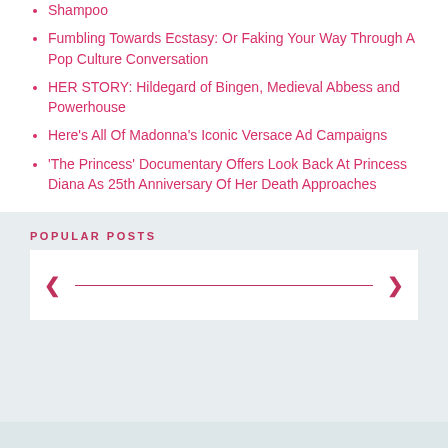Shampoo
Fumbling Towards Ecstasy: Or Faking Your Way Through A Pop Culture Conversation
HER STORY: Hildegard of Bingen, Medieval Abbess and Powerhouse
Here's All Of Madonna's Iconic Versace Ad Campaigns
'The Princess' Documentary Offers Look Back At Princess Diana As 25th Anniversary Of Her Death Approaches
POPULAR POSTS
[Figure (other): Slider navigation widget with left and right pink arrows and a pink horizontal line]
[Figure (logo): Ontario Creates logo — circular overlapping rings in orange, yellow, teal, and magenta, with ONTARIO CREATES text in dark grey]
COPYRIGHT 29SECRETS